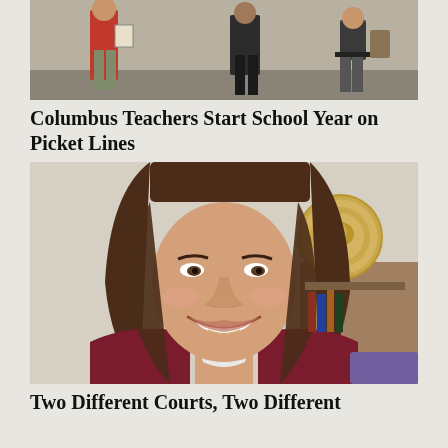[Figure (photo): People on a picket line, teachers striking, standing on a street.]
Columbus Teachers Start School Year on Picket Lines
[Figure (photo): A smiling woman with brown hair wearing a dark maroon jacket, with a government seal visible in the background.]
Two Different Courts, Two Different